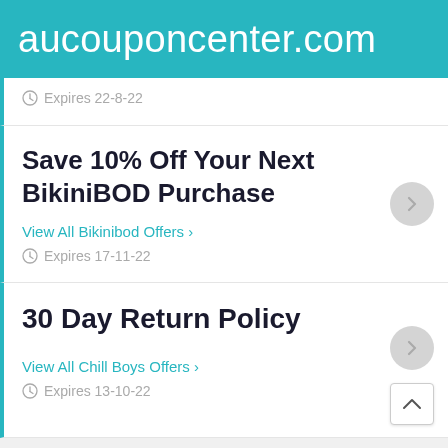aucouponcenter.com
Expires 22-8-22
Save 10% Off Your Next BikiniBOD Purchase
View All Bikinibod Offers >
Expires 17-11-22
30 Day Return Policy
View All Chill Boys Offers >
Expires 13-10-22